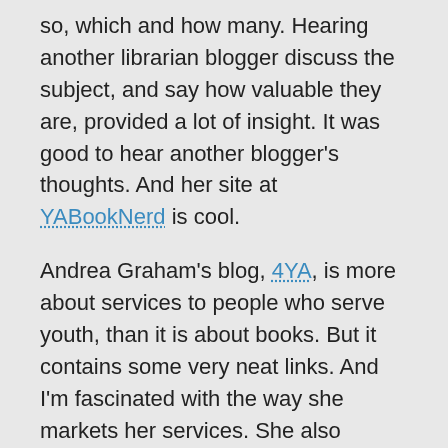so, which and how many. Hearing another librarian blogger discuss the subject, and say how valuable they are, provided a lot of insight. It was good to hear another blogger's thoughts. And her site at YABookNerd is cool.
Andrea Graham's blog, 4YA, is more about services to people who serve youth, than it is about books. But it contains some very neat links. And I'm fascinated with the way she markets her services. She also showed us all a really cool site. Pinterest, which is an online pinboard. It doesn't necessarily have anything whatever to do with libraries, but it looks like a whole lot of fun. And we all need more fun.
Last, but not least, was Josie Leavitt, one of the bloggers at ShelfTalker at Publishers Weekly. I read all the blogs at PW, so I did know about ShelfTalker.